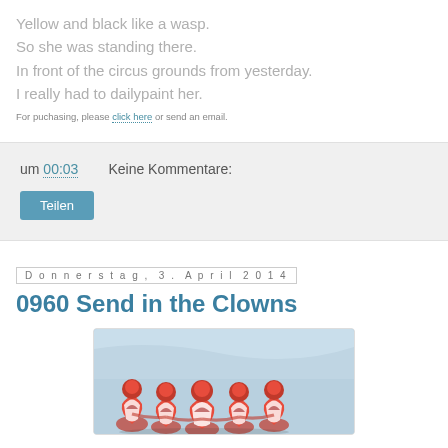Yellow and black like a wasp.
So she was standing there.
In front of the circus grounds from yesterday.
I really had to dailypaint her.
For puchasing, please click here or send an email.
um 00:03   Keine Kommentare:
Teilen
Donnerstag, 3. April 2014
0960 Send in the Clowns
[Figure (illustration): Painting showing several figures in red and white costumes (clowns) against a light blue background, viewed from behind]